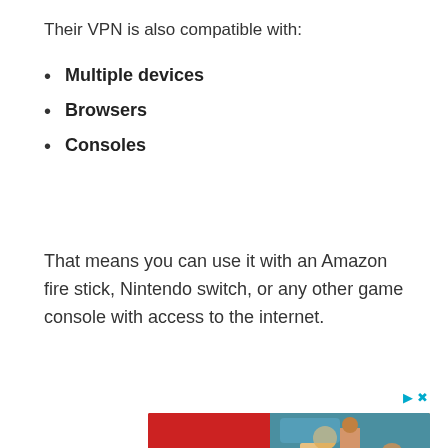Their VPN is also compatible with:
Multiple devices
Browsers
Consoles
That means you can use it with an Amazon fire stick, Nintendo switch, or any other game console with access to the internet.
[Figure (other): Advertisement banner for Hotels.com showing 'Find your perfect somewhere' with a beach/vacation photo and 'BOOK NOW' call to action]